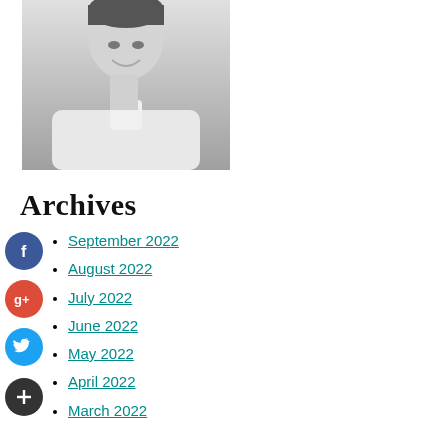[Figure (photo): Black and white portrait photo of a woman smiling, wearing a sleeveless white top with a collar]
Archives
September 2022
August 2022
July 2022
June 2022
May 2022
April 2022
March 2022